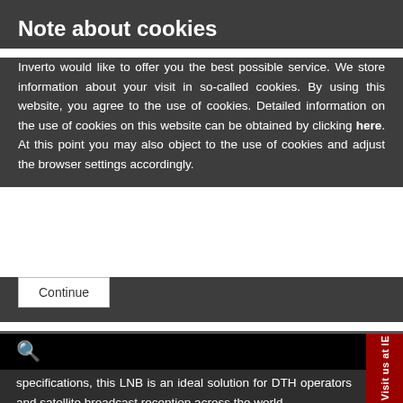Note about cookies
Inverto would like to offer you the best possible service. We store information about your visit in so-called cookies. By using this website, you agree to the use of cookies. Detailed information on the use of cookies on this website can be obtained by clicking here. At this point you may also object to the use of cookies and adjust the browser settings accordingly.
Continue
specifications, this LNB is an ideal solution for DTH operators and satellite broadcast reception across the world.
Main Features:
Low Phase Noise, DVB-S2 (HD and UHD) compliant
Low Noise Figure
Low power consumption
High Cross Polarization Isolation
High Frequency stability